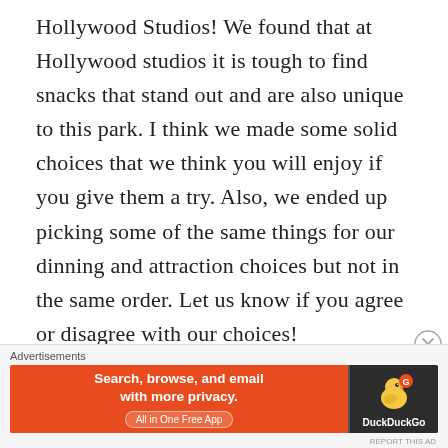Hollywood Studios! We found that at Hollywood studios it is tough to find snacks that stand out and are also unique to this park. I think we made some solid choices that we think you will enjoy if you give them a try. Also, we ended up picking some of the same things for our dinning and attraction choices but not in the same order. Let us know if you agree or disagree with our choices!
Advertisements
[Figure (other): DuckDuckGo advertisement banner: orange background on left with text 'Search, browse, and email with more privacy. All in One Free App', dark background on right with DuckDuckGo duck logo and brand name.]